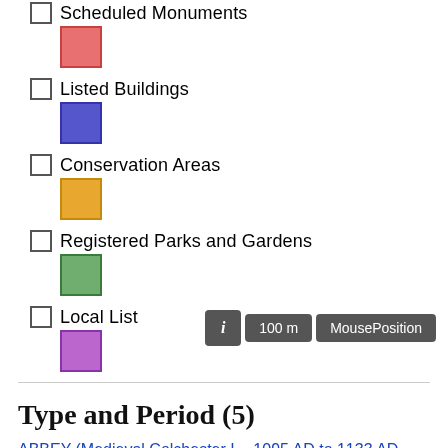Scheduled Monuments
Listed Buildings
Conservation Areas
Registered Parks and Gardens
Local List
Type and Period (5)
ABBEY (Medieval Colchester I. - 1095 AD to 1133 AD (between))
ABBEY (Medieval Colchester I. to Medieval Colchester II. - 1133 AD to 1538 AD (between))
CLOISTER (Medieval Colchester I. to Medieval Colchester